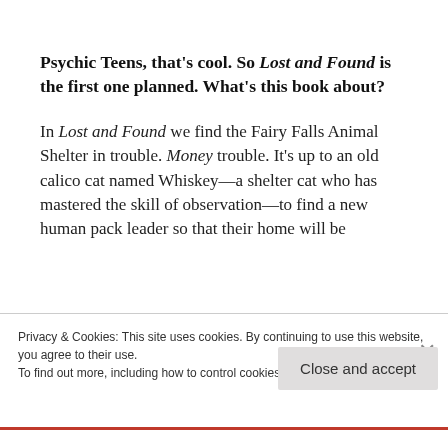Psychic Teens, that's cool. So Lost and Found is the first one planned. What's this book about?
In Lost and Found we find the Fairy Falls Animal Shelter in trouble. Money trouble. It's up to an old calico cat named Whiskey—a shelter cat who has mastered the skill of observation—to find a new human pack leader so that their home will be
Privacy & Cookies: This site uses cookies. By continuing to use this website, you agree to their use.
To find out more, including how to control cookies, see here: Cookie Policy
Close and accept